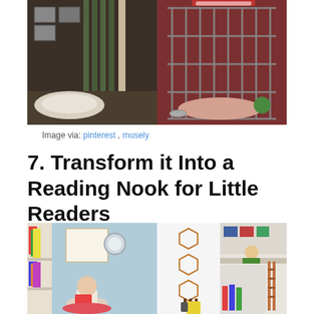[Figure (photo): Two side-by-side photos of closets converted into pet spaces: left shows a dog bed inside a dark closet with green curtain, right shows a metal wire crate/closet with dog bed and bowls inside.]
Image via: pinterest , musely
7. Transform it Into a Reading Nook for Little Readers
[Figure (photo): Two side-by-side photos of closets converted into children's reading nooks: left shows a child reading in a cozy closet with bookshelves, right shows a closet with geometric wall decals and a child reading on a loft shelf with ladder.]